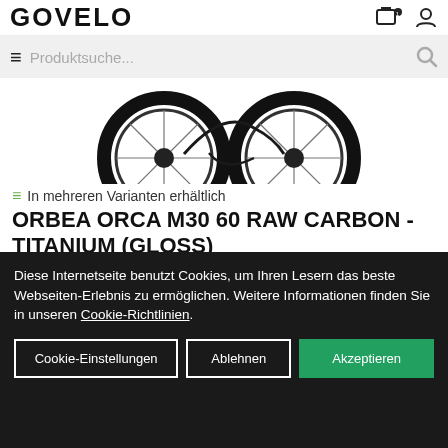Govelo — Produktsuche...
[Figure (photo): Partial view of a road bicycle, showing two wheels (front and rear) with black tyres and spokes, on a white background.]
≡ In mehreren Varianten erhältlich
ORBEA ORCA M30 60 RAW CARBON - TITANIUM (GLOSS)
🏠 sofort im Laden verfügbar
Verfügbar in unserer Filiale in Strausburg
2.499,00 EUR
Diese Internetseite benutzt Cookies, um Ihren Lesern das beste Webseiten-Erlebnis zu ermöglichen. Weitere Informationen finden Sie in unseren Cookie-Richtlinien.
Cookie-Einstellungen | Ablehnen | Akzeptieren